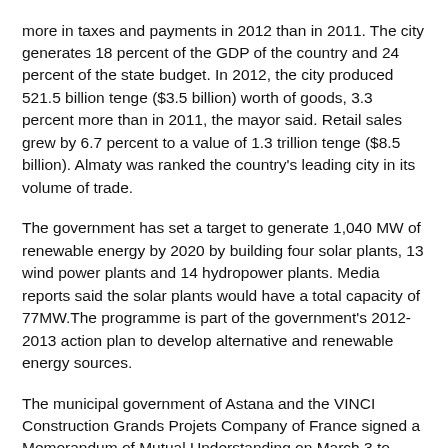more in taxes and payments in 2012 than in 2011. The city generates 18 percent of the GDP of the country and 24 percent of the state budget. In 2012, the city produced 521.5 billion tenge ($3.5 billion) worth of goods, 3.3 percent more than in 2011, the mayor said. Retail sales grew by 6.7 percent to a value of 1.3 trillion tenge ($8.5 billion). Almaty was ranked the country's leading city in its volume of trade.
The government has set a target to generate 1,040 MW of renewable energy by 2020 by building four solar plants, 13 wind power plants and 14 hydropower plants. Media reports said the solar plants would have a total capacity of 77MW.The programme is part of the government's 2012-2013 action plan to develop alternative and renewable energy sources.
The municipal government of Astana and the VINCI Construction Grands Projets Company of France signed a Memorandum of Mutual Understanding on March 3 to develop public transport services. VINCI will construct three car parks on the Left Bank of the Ishim River starting this year. The. VINCI will also work on construction projects associated with EXPO 2017.
Cut The Astana Times continues on the...